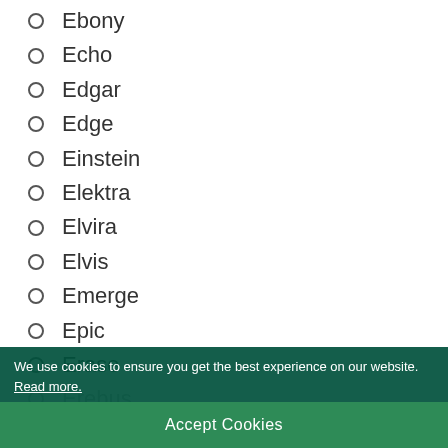Ebony
Echo
Edgar
Edge
Einstein
Elektra
Elvira
Elvis
Emerge
Epic
Erase
Erebus
Ernest
Erupt
We use cookies to ensure you get the best experience on our website. Read more.
Accept Cookies